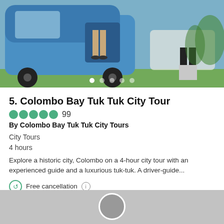[Figure (photo): Photo of a blue tuk-tuk vehicle with passengers, parked on grass, with image carousel dots below]
5. Colombo Bay Tuk Tuk City Tour
99 (rating) By Colombo Bay Tuk Tuk City Tours
City Tours
4 hours
Explore a historic city, Colombo on a 4-hour city tour with an experienced guide and a luxurious tuk-tuk.  A driver-guide...
Free cancellation
Recommended by 97% of travellers
from
USD 35.00
per adult
[Figure (photo): Bottom gray section with partial circular avatar photo]